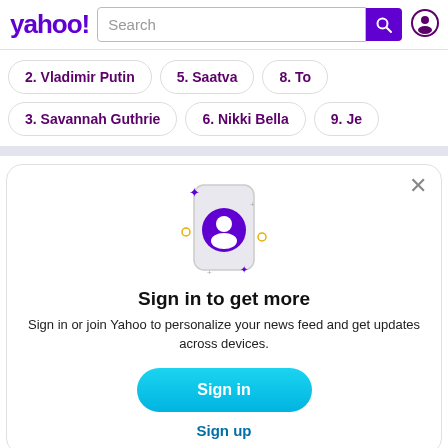yahoo! Search
2. Vladimir Putin
5. Saatva
8. To…
3. Savannah Guthrie
6. Nikki Bella
9. Je…
[Figure (illustration): Yahoo sign-in prompt illustration: phone with user avatar icon, sparkles around it]
Sign in to get more
Sign in or join Yahoo to personalize your news feed and get updates across devices.
Sign in
Sign up